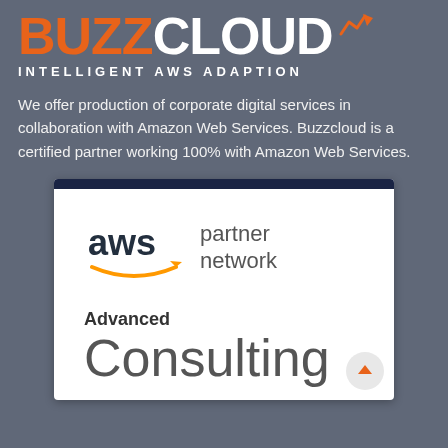[Figure (logo): BuzzCloud logo with orange BUZZ text and white CLOUD text and a small graph icon, with tagline INTELLIGENT AWS ADAPTION]
We offer production of corporate digital services in collaboration with Amazon Web Services. Buzzcloud is a certified partner working 100% with Amazon Web Services.
[Figure (logo): AWS Partner Network logo with 'Advanced Consulting' text below it in a white card]